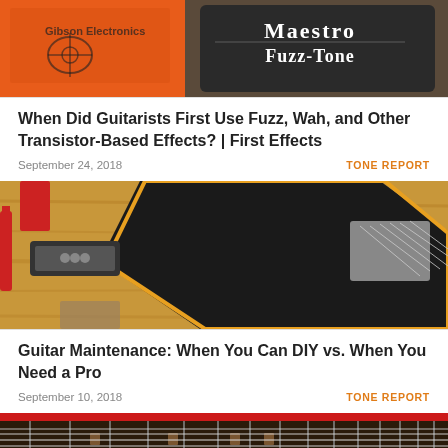[Figure (photo): Photo of orange Fuzz pedal box and black Maestro Fuzz-Tone pedal on wooden surface]
When Did Guitarists First Use Fuzz, Wah, and Other Transistor-Based Effects? | First Effects
September 24, 2018
TONE REPORT
[Figure (photo): Photo of disassembled guitar parts including pickguard, pickup, and bridge on wooden surface]
Guitar Maintenance: When You Can DIY vs. When You Need a Pro
September 10, 2018
TONE REPORT
[Figure (photo): Partial photo of red electric guitar fretboard and neck]